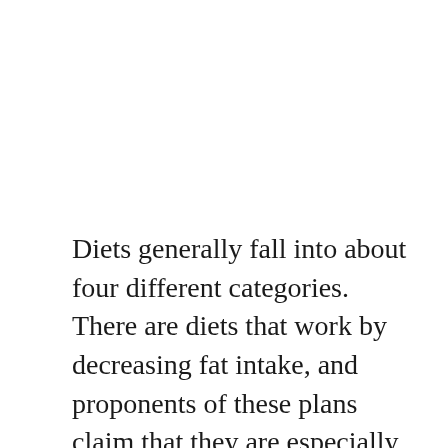Diets generally fall into about four different categories. There are diets that work by decreasing fat intake, and proponents of these plans claim that they are especially good for promoting a healthy heart and circulatory system. Another group of diets focus on decreasing the intake of various carbohydrates, and these can vary from being relatively extreme to being very moderate. Some diets aim for a more restrictive approach...